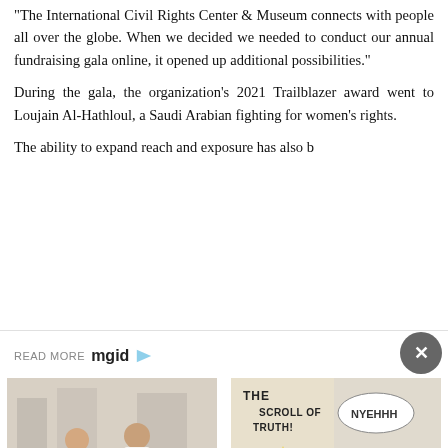“The International Civil Rights Center & Museum connects with people all over the globe. When we decided we needed to conduct our annual fundraising gala online, it opened up additional possibilities.”
During the gala, the organization’s 2021 Trailblazer award went to Loujain Al-Hathloul, a Saudi Arabian fighting for women’s rights.
The ability to expand reach and exposure has also b…
[Figure (screenshot): READ MORE mgid advertisement bar with close button (X)]
[Figure (photo): Photo of two women in white dresses walking on a street]
Best Street Looks Of The Scandalous Song “Blurred Lines” Star
[Figure (illustration): Cartoon meme illustration: The Scroll of Truth! with cartoon characters labeled NYEHHH]
The Best Ukrainian War Memes By The Ukrainian Memes Forces